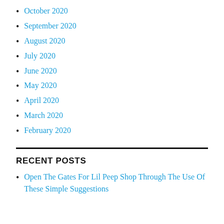October 2020
September 2020
August 2020
July 2020
June 2020
May 2020
April 2020
March 2020
February 2020
RECENT POSTS
Open The Gates For Lil Peep Shop Through The Use Of These Simple Suggestions